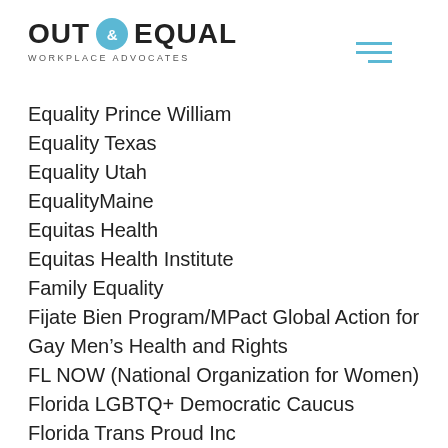OUT & EQUAL WORKPLACE ADVOCATES
Equality Prince William
Equality Texas
Equality Utah
EqualityMaine
Equitas Health
Equitas Health Institute
Family Equality
Fijate Bien Program/MPact Global Action for Gay Men's Health and Rights
FL NOW (National Organization for Women)
Florida LGBTQ+ Democratic Caucus
Florida Trans Proud Inc
FORGE, Inc.